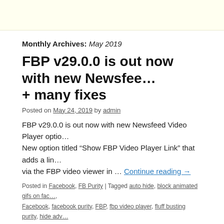Monthly Archives: May 2019
FBP v29.0.0 is out now with new Newsfeed + many fixes
Posted on May 24, 2019 by admin
FBP v29.0.0 is out now with new Newsfeed Video Player options. New option titled “Show FBP Video Player Link” that adds a link via the FBP video viewer in … Continue reading →
Posted in Facebook, FB Purity | Tagged auto hide, block animated gifs on facebook, facebook purity, FBP, fbp video player, fluff busting purity, hide animated gifs on facebook, hide facebook marketplace, hide facebook stories, hide facebook stories, single click full screen video, slow down facebook videos, speed up facebook | Leave a comment
Google have removed FB Purity from the